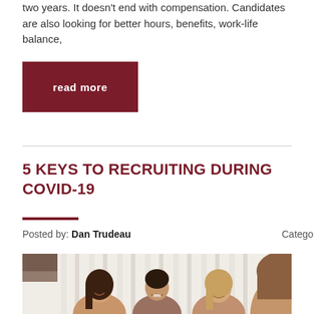two years. It doesn't end with compensation. Candidates are also looking for better hours, benefits, work-life balance,
read more
5 KEYS TO RECRUITING DURING COVID-19
Posted by: Dan Trudeau    Category: Hiring Adv
[Figure (photo): Three people smiling during what appears to be a job interview or meeting, viewed from behind a fourth person]